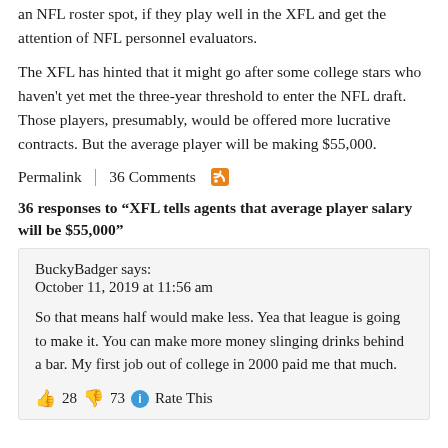an NFL roster spot, if they play well in the XFL and get the attention of NFL personnel evaluators.
The XFL has hinted that it might go after some college stars who haven't yet met the three-year threshold to enter the NFL draft. Those players, presumably, would be offered more lucrative contracts. But the average player will be making $55,000.
Permalink | 36 Comments
36 responses to “XFL tells agents that average player salary will be $55,000”
BuckyBadger says:
October 11, 2019 at 11:56 am

So that means half would make less. Yea that league is going to make it. You can make more money slinging drinks behind a bar. My first job out of college in 2000 paid me that much.

👍 28 👎 73 ℹ Rate This